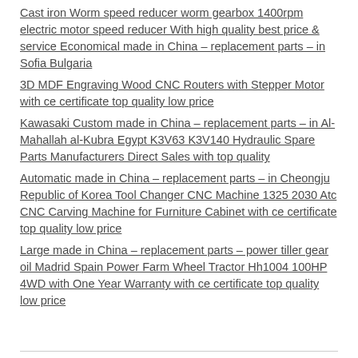Cast iron Worm speed reducer worm gearbox 1400rpm electric motor speed reducer With high quality best price & service Economical made in China – replacement parts – in Sofia Bulgaria
3D MDF Engraving Wood CNC Routers with Stepper Motor with ce certificate top quality low price
Kawasaki Custom made in China – replacement parts – in Al-Mahallah al-Kubra Egypt K3V63 K3V140 Hydraulic Spare Parts Manufacturers Direct Sales with top quality
Automatic made in China – replacement parts – in Cheongju Republic of Korea Tool Changer CNC Machine 1325 2030 Atc CNC Carving Machine for Furniture Cabinet with ce certificate top quality low price
Large made in China – replacement parts – power tiller gear oil Madrid Spain Power Farm Wheel Tractor Hh1004 100HP 4WD with One Year Warranty with ce certificate top quality low price